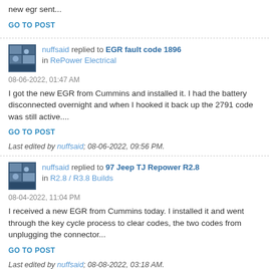new egr sent...
GO TO POST
nuffsaid replied to EGR fault code 1896 in RePower Electrical
08-06-2022, 01:47 AM
I got the new EGR from Cummins and installed it. I had the battery disconnected overnight and when I hooked it back up the 2791 code was still active....
GO TO POST
Last edited by nuffsaid; 08-06-2022, 09:56 PM.
nuffsaid replied to 97 Jeep TJ Repower R2.8 in R2.8 / R3.8 Builds
08-04-2022, 11:04 PM
I received a new EGR from Cummins today. I installed it and went through the key cycle process to clear codes, the two codes from unplugging the connector...
GO TO POST
Last edited by nuffsaid; 08-08-2022, 03:18 AM.